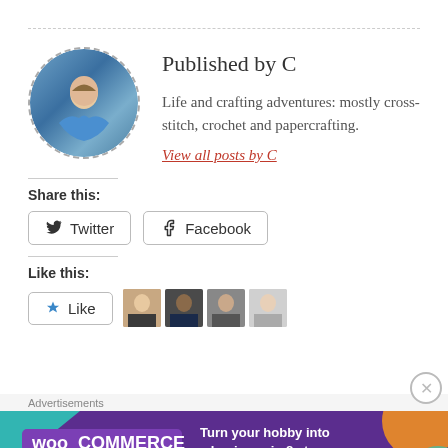Published by C
Life and crafting adventures: mostly cross-stitch, crochet and papercrafting.
View all posts by C
Share this:
Twitter
Facebook
Like this:
Like
Advertisements
[Figure (infographic): WooCommerce advertisement banner: 'Turn your hobby into a business in 8 steps' on dark purple background with teal and orange geometric shapes]